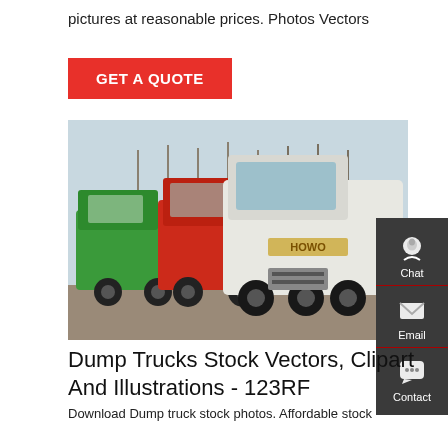pictures at reasonable prices. Photos Vectors
GET A QUOTE
[Figure (photo): Three HOWO and other brand heavy dump/tractor trucks parked side by side outdoors, with bare trees in background. A white HOWO truck is in the foreground.]
Chat
Email
Contact
Dump Trucks Stock Vectors, Clipart And Illustrations - 123RF
Download Dump truck stock photos. Affordable stock